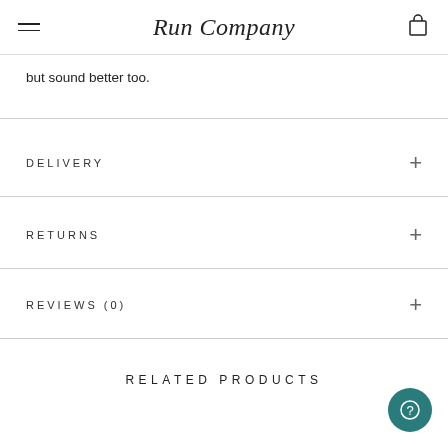Run Company
but sound better too.
DELIVERY
RETURNS
REVIEWS (0)
RELATED PRODUCTS